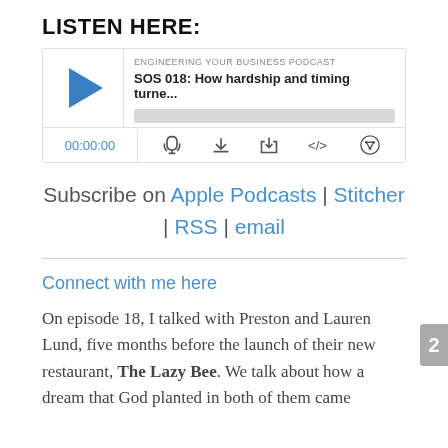LISTEN HERE:
[Figure (screenshot): Podcast player widget showing a play button, episode title 'SOS 018: How hardship and timing turne...', label 'ENGINEERING YOUR BUSINESS PODCAST', a progress bar, time display '00:00:00', and control icons for RSS, download, embed code, and share.]
Subscribe on Apple Podcasts | Stitcher | RSS | email
Connect with me here
On episode 18, I talked with Preston and Lauren Lund, five months before the launch of their new restaurant, The Lazy Bee. We talk about how a dream that God planted in both of them came